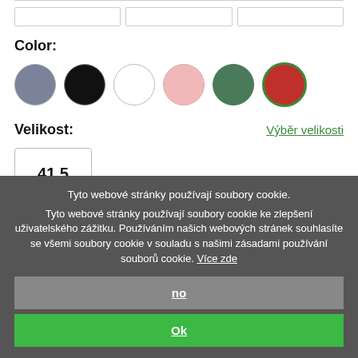Color:
[Figure (illustration): Six color swatches as circles: grey, black, white, pink, dark green, red (red has green border indicating selected)]
Velikost:
Výběr velikosti
41.5
In Stock
Availability: In stock
Tyto webové stránky používají soubory cookie.
Tyto webové stránky používají soubory cookie ke zlepšení uživatelského zážitku. Používáním našich webových stránek souhlasíte se všemi soubory cookie v souladu s našimi zásadami používání souborů cookie. Více zde
no
Ok